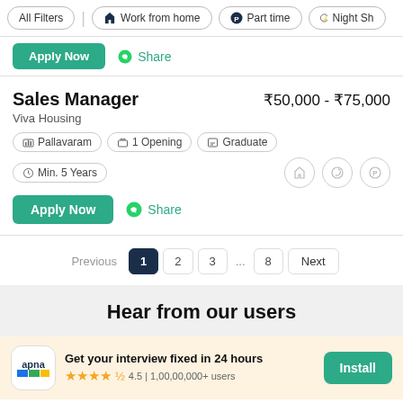All Filters | Work from home | Part time | Night Sh...
Apply Now  Share
Sales Manager
₹50,000 - ₹75,000
Viva Housing
Pallavaram  1 Opening  Graduate  Min. 5 Years
Apply Now  Share
Previous  1  2  3  ...  8  Next
Hear from our users
Get your interview fixed in 24 hours  4.5 | 1,00,00,000+ users  Install